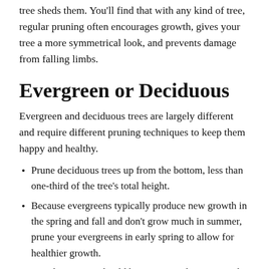tree sheds them. You'll find that with any kind of tree, regular pruning often encourages growth, gives your tree a more symmetrical look, and prevents damage from falling limbs.
Evergreen or Deciduous
Evergreen and deciduous trees are largely different and require different pruning techniques to keep them happy and healthy.
Prune deciduous trees up from the bottom, less than one-third of the tree's total height.
Because evergreens typically produce new growth in the spring and fall and don't grow much in summer, prune your evergreens in early spring to allow for healthier growth.
Deciduous trees should be encouraged to grow and produce leaves throughout spring and summer. Prune in late winter.
Don't prune deciduous trees when the plant tissue is frozen. This will cause breaks and cracks in the wood, resulting in undesirable wounds.
Never prune evergreens to the inactive center (where no needles